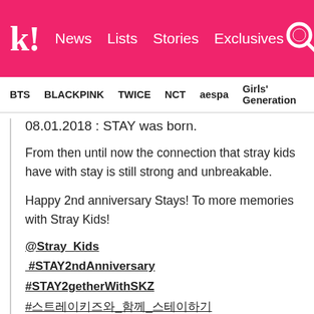k! News Lists Stories Exclusives
BTS  BLACKPINK  TWICE  NCT  aespa  Girls' Generation
08.01.2018 : STAY was born.
From then until now the connection that stray kids have with stay is still strong and unbreakable.
Happy 2nd anniversary Stays! To more memories with Stray Kids!
@Stray_Kids #STAY2ndAnniversary #STAY2getherWithSKZ #스트레이키즈와_함께_스테이하기
[Figure (photo): Bottom cropped image with tan/beige background showing partial figure]